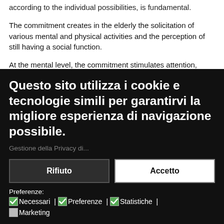according to the individual possibilities, is fundamental.
The commitment creates in the elderly the solicitation of various mental and physical activities and the perception of still having a social function.
At the mental level, the commitment stimulates attention,
Questo sito utilizza i cookie e tecnologie simili per garantirvi la migliore esperienza di navigazione possibile.
Gestione della Privacy di...
Rifiuto
Accetto
Preferenze: Necessari | Preferenze | Statistiche | Marketing